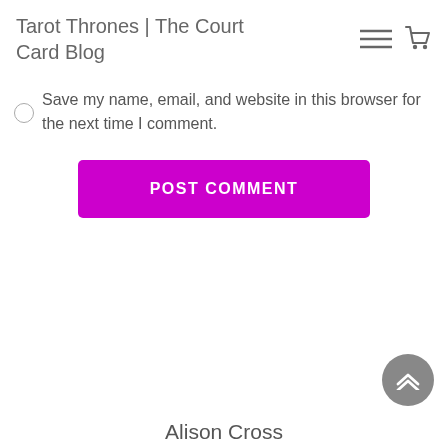Tarot Thrones | The Court Card Blog
Save my name, email, and website in this browser for the next time I comment.
POST COMMENT
Alison Cross